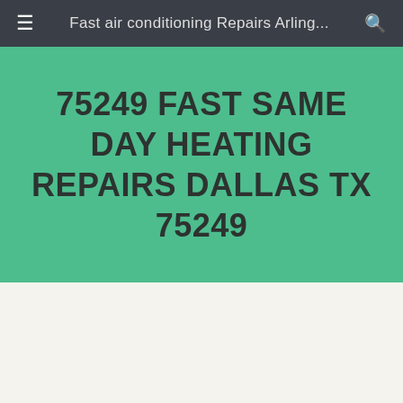Fast air conditioning Repairs Arling...
75249 FAST SAME DAY HEATING REPAIRS DALLAS TX 75249